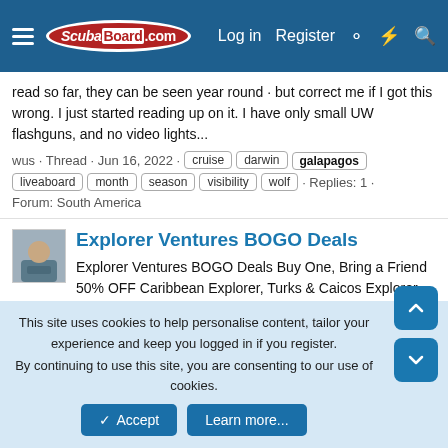ScubaBoard.com | Log in | Register
read so far, they can be seen year round · but correct me if I got this wrong. I just started reading up on it. I have only small UW flashguns, and no video lights...
wus · Thread · Jun 16, 2022 · cruise  darwin  galapagos  liveaboard  month  season  visibility  wolf · Replies: 1 · Forum: South America
Explorer Ventures BOGO Deals
Explorer Ventures BOGO Deals Buy One, Bring a Friend 50% OFF Caribbean Explorer, Turks & Caicos Explorer, Galapagos Ships
aquabluegreg · Thread · May 19, 2022 · caribbean  caribbean explorer ii  explorer ventures  galapagos  liquid diving adventures  liveaboard adventure  scuba  scuba diving  turks & caicos explorer ii · Replies: 0 · Forum: Trips & Marketplace: Liveaboards
This site uses cookies to help personalise content, tailor your experience and keep you logged in if you register.
By continuing to use this site, you are consenting to our use of cookies.